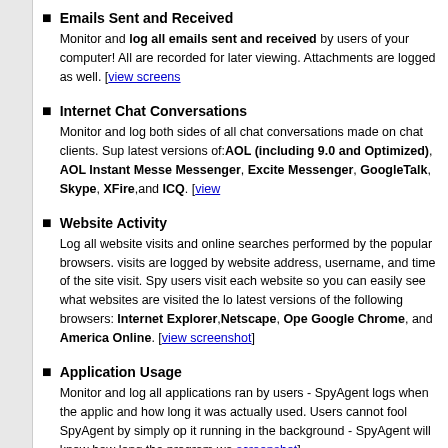Emails Sent and Received
Monitor and log all emails sent and received by users of your computer! All are recorded for later viewing. Attachments are logged as well. [view screens
Internet Chat Conversations
Monitor and log both sides of all chat conversations made on chat clients. Supports the latest versions of: AOL (including 9.0 and Optimized), AOL Instant Messenger, Excite Messenger, GoogleTalk, Skype, XFire, and ICQ. [view
Website Activity
Log all website visits and online searches performed by the popular browsers. visits are logged by website address, username, and time of the site visit. SpyAgent users visit each website so you can easily see what websites are visited the latest versions of the following browsers: Internet Explorer, Netscape, Oper Google Chrome, and America Online. [view screenshot]
Application Usage
Monitor and log all applications ran by users - SpyAgent logs when the appli and how long it was actually used. Users cannot fool SpyAgent by simply op it running in the background - SpyAgent will know how long the program wa [view screenshot]
Webmail and Website Content
Log webmail messages from most major webmail providers - such as Gmail, webmail. SpyAgent logs incoming messages read by the user, as well as mess webmail. All website content visited can be logged as well. [view screenshot